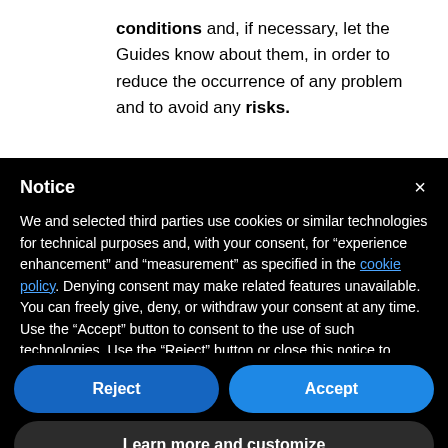conditions and, if necessary, let the Guides know about them, in order to reduce the occurrence of any problem and to avoid any risks.
Notice
We and selected third parties use cookies or similar technologies for technical purposes and, with your consent, for “experience enhancement” and “measurement” as specified in the cookie policy. Denying consent may make related features unavailable.
You can freely give, deny, or withdraw your consent at any time.
Use the “Accept” button to consent to the use of such technologies. Use the “Reject” button or close this notice to continue without accepting.
Reject
Accept
Learn more and customize